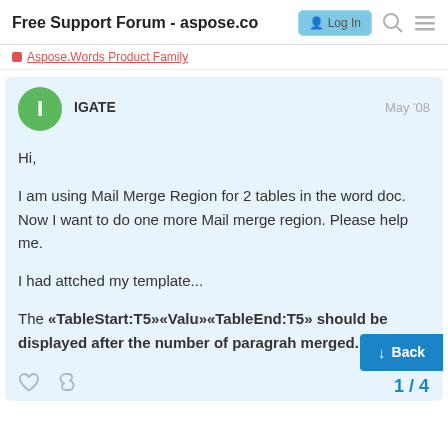Free Support Forum - aspose.co
Aspose.Words Product Family
IGATE   May '08
Hi,

I am using Mail Merge Region for 2 tables in the word doc. Now I want to do one more Mail merge region. Please help me.

I had attched my template...

The «TableStart:T5»«Valu»«TableEnd:T5» should be displayed after the number of paragrah merged.